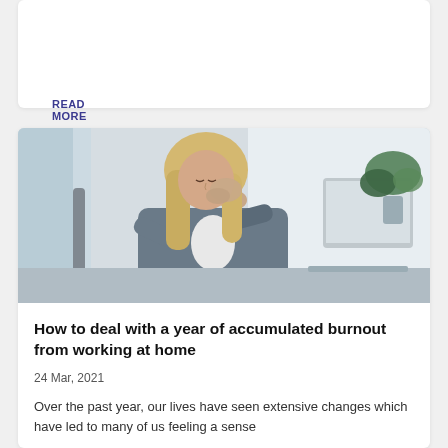READ MORE
[Figure (photo): Woman in grey blazer sitting at desk, head in hand, appearing stressed or fatigued, with a laptop and plant visible in the background]
How to deal with a year of accumulated burnout from working at home
24 Mar, 2021
Over the past year, our lives have seen extensive changes which have led to many of us feeling a sense